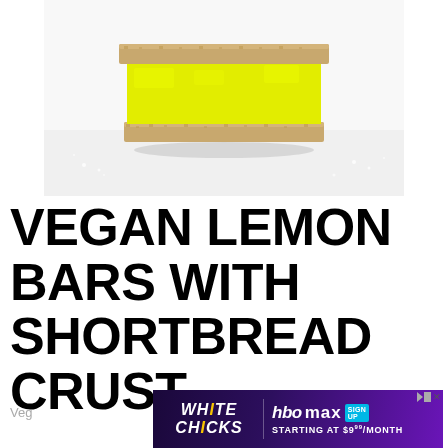[Figure (photo): Close-up photo of a vegan lemon bar with shortbread crust — bright yellow lemon curd layered between two shortbread cookie layers, dusted with powdered sugar, on a white surface.]
VEGAN LEMON BARS WITH SHORTBREAD CRUST
Veg...
[Figure (other): Advertisement banner for White Chicks on HBO Max. Shows 'White Chicks' logo on the left and 'HBO max SIGN UP STARTING AT $9.99/MONTH' on the right, on a purple gradient background.]